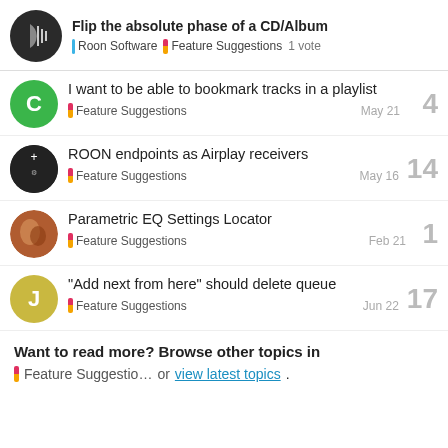Flip the absolute phase of a CD/Album — Roon Software | Feature Suggestions — 1 vote
I want to be able to bookmark tracks in a playlist — Feature Suggestions — May 21 — 4 replies
ROON endpoints as Airplay receivers — Feature Suggestions — May 16 — 14 replies
Parametric EQ Settings Locator — Feature Suggestions — Feb 21 — 1 reply
"Add next from here" should delete queue — Feature Suggestions — Jun 22 — 17 replies
Want to read more? Browse other topics in Feature Suggestio… or view latest topics.